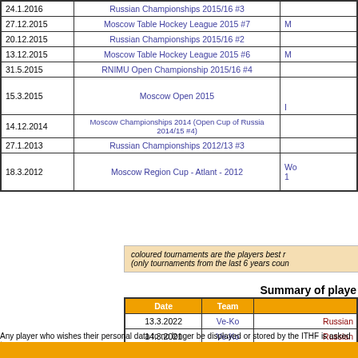| Date | Event |  |
| --- | --- | --- |
| 24.1.2016 | Russian Championships 2015/16 #3 |  |
| 27.12.2015 | Moscow Table Hockey League 2015 #7 | M... |
| 20.12.2015 | Russian Championships 2015/16 #2 |  |
| 13.12.2015 | Moscow Table Hockey League 2015 #6 | M... |
| 31.5.2015 | RNIMU Open Championship 2015/16 #4 |  |
| 15.3.2015 | Moscow Open 2015 | ... |
| 14.12.2014 | Moscow Championships 2014 (Open Cup of Russia 2014/15 #4) |  |
| 27.1.2013 | Russian Championships 2012/13 #3 |  |
| 18.3.2012 | Moscow Region Cup - Atlant - 2012 | Wo... 1... |
coloured tournaments are the players best r... (only tournaments from the last 6 years coun...
Summary of playe
| Date | Team |  |
| --- | --- | --- |
| 13.3.2022 | Ve-Ko | Russian... |
| 14.3.2021 | Ve-Ko | Russian... |
Any player who wishes their personal data to no longer be displayed or stored by the ITHF is asked to...